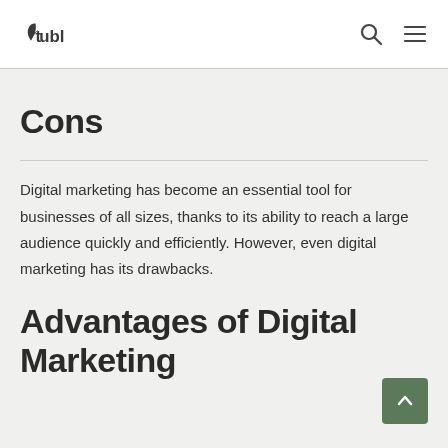tubl
Cons
Digital marketing has become an essential tool for businesses of all sizes, thanks to its ability to reach a large audience quickly and efficiently. However, even digital marketing has its drawbacks.
Advantages of Digital Marketing